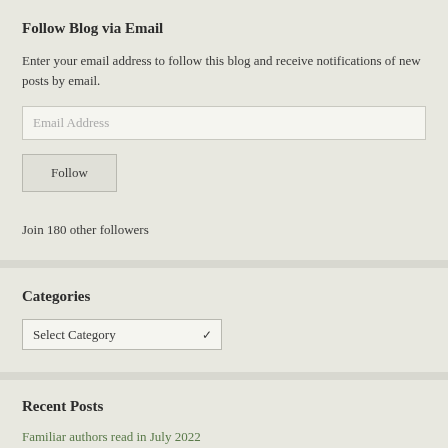Follow Blog via Email
Enter your email address to follow this blog and receive notifications of new posts by email.
Email Address
Follow
Join 180 other followers
Categories
Select Category
Recent Posts
Familiar authors read in July 2022